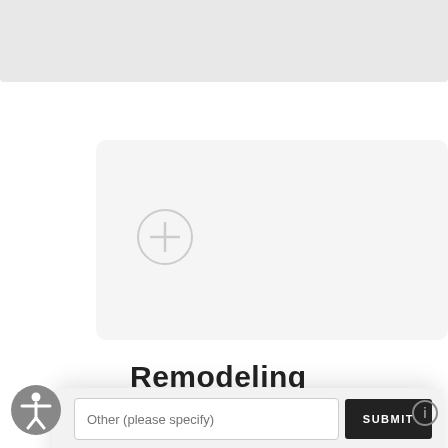[Figure (screenshot): Top gray bar area of a webpage]
[Figure (screenshot): Card area with a plus circle icon]
Remodeling
HOW DID YOU FIND US TODAY?
Google Search
Instagram
Facebook
Other (please specify)
SUBMIT